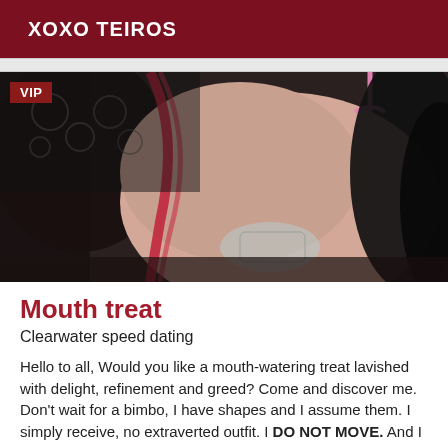XOXO TEIROS
[Figure (photo): Close-up photo showing a person wearing black lace lingerie with red accents and black fabric, partially draped.]
Mouth treat
Clearwater speed dating
Hello to all, Would you like a mouth-watering treat lavished with delight, refinement and greed? Come and discover me. Don't wait for a bimbo, I have shapes and I assume them. I simply receive, no extraverted outfit. I DO NOT MOVE. And I SEND MORE PHOTOS. I t...